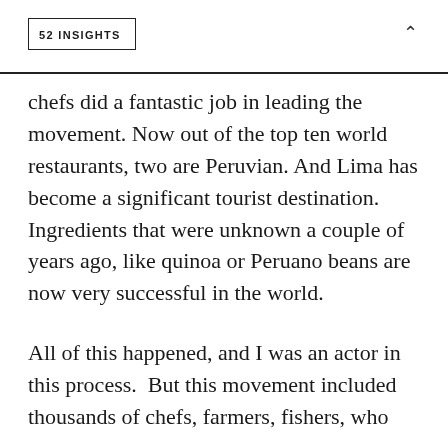52 INSIGHTS
chefs did a fantastic job in leading the movement. Now out of the top ten world restaurants, two are Peruvian. And Lima has become a significant tourist destination. Ingredients that were unknown a couple of years ago, like quinoa or Peruano beans are now very successful in the world.
All of this happened, and I was an actor in this process.  But this movement included thousands of chefs, farmers, fishers, who